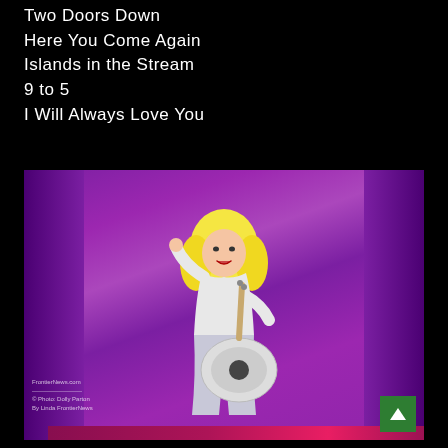Two Doors Down
Here You Come Again
Islands in the Stream
9 to 5
I Will Always Love You
[Figure (photo): Blonde female performer on stage with purple curtain backdrop, wearing white outfit and holding a white acoustic guitar, singing and dancing. Watermark reads FrontierNews.com at bottom left. Green back-to-top button at bottom right.]